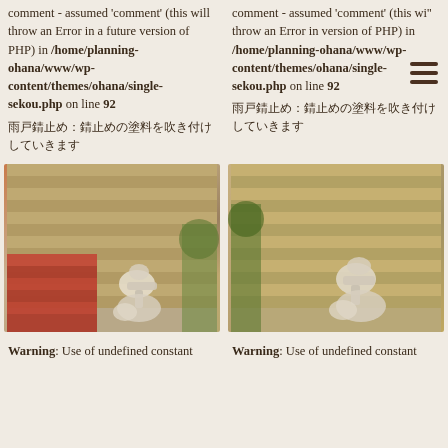comment - assumed 'comment' (this will throw an Error in a future version of PHP) in /home/planning-ohana/www/wp-content/themes/ohana/single-sekou.php on line 92
雨戸錆止め：錆止めの塗料を吹き付けしていきます
comment - assumed 'comment' (this wi'' throw an Error in version of PHP) in /home/planning-ohana/www/wp-content/themes/ohana/single-sekou.php on line 92
雨戸錆止め：錆止めの塗料を吹き付けしていきます
[Figure (photo): Person holding a paint spray gun in front of a corrugated metal shutter/rolling door, applying rust-proof primer coating]
[Figure (photo): Person holding a paint spray gun in front of a corrugated metal shutter/rolling door, applying rust-proof primer coating]
Warning: Use of undefined constant
Warning: Use of undefined constant